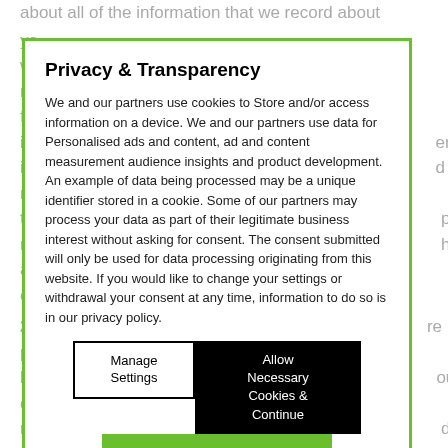about all of the information that we record about you [...]ich we ma[...] ollect fro[...] ers inf[...] ersonal inf[...] d not. In the[...] process' me[...] herwise act on[...]
Privacy & Transparency
We and our partners use cookies to Store and/or access information on a device. We and our partners use data for Personalised ads and content, ad and content measurement audience insights and product development. An example of data being processed may be a unique identifier stored in a cookie. Some of our partners may process your data as part of their legitimate business interest without asking for consent. The consent submitted will only be used for data processing originating from this website. If you would like to change your settings or withdrawal your consent at any time, information to do so is in our privacy policy.
Manage Settings
Allow Necessary Cookies & Continue
Continue with Recommended Cookies
2 [...] re points be[...] our only rec[...] diately.
3 [...] your pri[...] and that all vis[...] now that